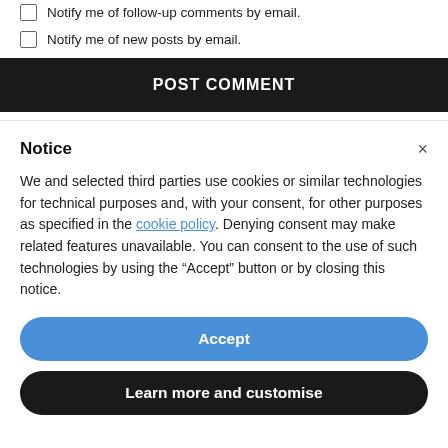Notify me of follow-up comments by email.
Notify me of new posts by email.
POST COMMENT
Notice
We and selected third parties use cookies or similar technologies for technical purposes and, with your consent, for other purposes as specified in the cookie policy. Denying consent may make related features unavailable. You can consent to the use of such technologies by using the "Accept" button or by closing this notice.
Accept
Learn more and customise